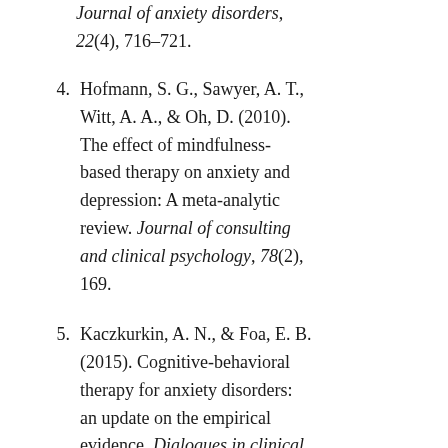Journal of anxiety disorders, 22(4), 716–721.
4. Hofmann, S. G., Sawyer, A. T., Witt, A. A., & Oh, D. (2010). The effect of mindfulness-based therapy on anxiety and depression: A meta-analytic review. Journal of consulting and clinical psychology, 78(2), 169.
5. Kaczkurkin, A. N., & Foa, E. B. (2015). Cognitive-behavioral therapy for anxiety disorders: an update on the empirical evidence. Dialogues in clinical neuroscience, 17(3), 337.
6. Locher, C., Koechlin, H., Zion, S. R., Werner, C., Pine, D. S.,